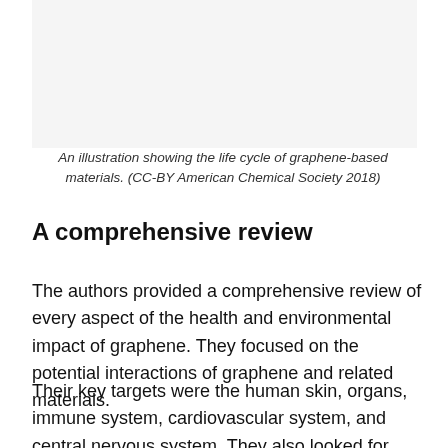[Figure (illustration): An illustration showing the life cycle of graphene-based materials (image area, mostly white/blank in this crop).]
An illustration showing the life cycle of graphene-based materials. (CC-BY American Chemical Society 2018)
A comprehensive review
The authors provided a comprehensive review of every aspect of the health and environmental impact of graphene. They focused on the potential interactions of graphene and related materials.
Their key targets were the human skin, organs, immune system, cardiovascular system, and central nervous system. They also looked for possible effects on the